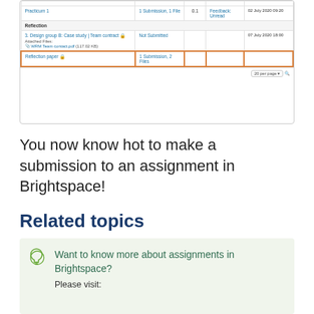[Figure (screenshot): Screenshot of Brightspace assignment submission table showing entries for Practicum 1, Reflection section with Design group B team contract and Reflection paper entries. The Reflection paper row is highlighted with an orange border. Columns include assignment name, submission status, score, feedback, and date.]
You now know hot to make a submission to an assignment in Brightspace!
Related topics
Want to know more about assignments in Brightspace?

Please visit: